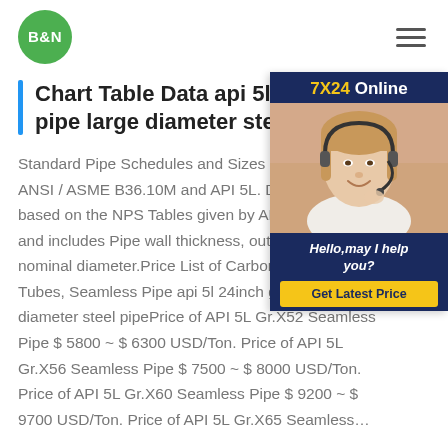B&N [logo] | hamburger menu
Chart Table Data api 5l 24inch gas pipe large diameter steel pipe
[Figure (photo): Customer support representative wearing a headset, with 7X24 Online banner, Hello may I help you? message, and Get Latest Price button on dark navy background]
Standard Pipe Schedules and Sizes Chart Data for ANSI / ASME B36.10M and API 5L. Data given is based on the NPS Tables given by ANSI and includes Pipe wall thickness, outside diameter, nominal diameter.Price List of Carbon Steel Tubes, Seamless Pipe api 5l 24inch gas pipe large diameter steel pipePrice of API 5L Gr.X52 Seamless Pipe $ 5800 ~ $ 6300 USD/Ton. Price of API 5L Gr.X56 Seamless Pipe $ 7500 ~ $ 8000 USD/Ton. Price of API 5L Gr.X60 Seamless Pipe $ 9200 ~ $ 9700 USD/Ton. Price of API 5L Gr.X65 Seamless